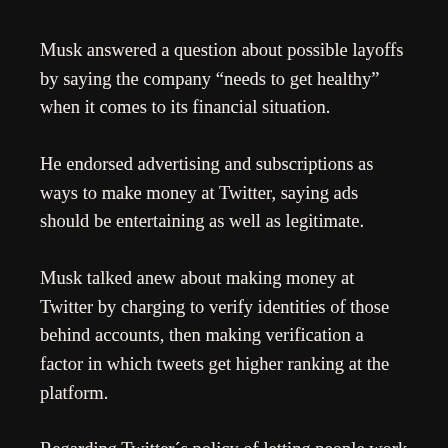Musk answered a question about possible layoffs by saying the company “needs to get healthy” when it comes to its financial situation.
He endorsed advertising and subscriptions as ways to make money at Twitter, saying ads should be entertaining as well as legitimate.
Musk talked anew about making money at Twitter by charging to verify identities of those behind accounts, then making verification a factor in which tweets get higher ranking at the platform.
Regarding Twitter´s policy of letting people work from home, Musk said it would be an option only for those proven to be exceptional at their jobs, he was reported to